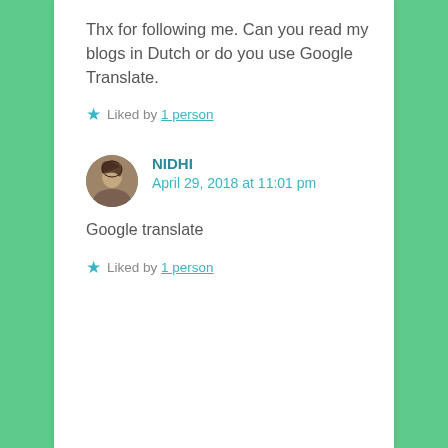Thx for following me. Can you read my blogs in Dutch or do you use Google Translate.
Liked by 1 person
NIDHI
April 29, 2018 at 11:01 pm
Google translate
Liked by 1 person